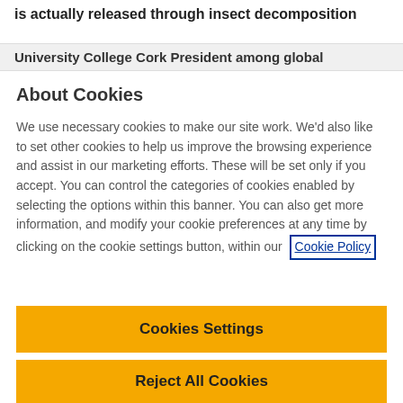is actually released through insect decomposition
University College Cork President among global
About Cookies
We use necessary cookies to make our site work. We'd also like to set other cookies to help us improve the browsing experience and assist in our marketing efforts. These will be set only if you accept. You can control the categories of cookies enabled by selecting the options within this banner. You can also get more information, and modify your cookie preferences at any time by clicking on the cookie settings button, within our Cookie Policy
Cookies Settings
Reject All Cookies